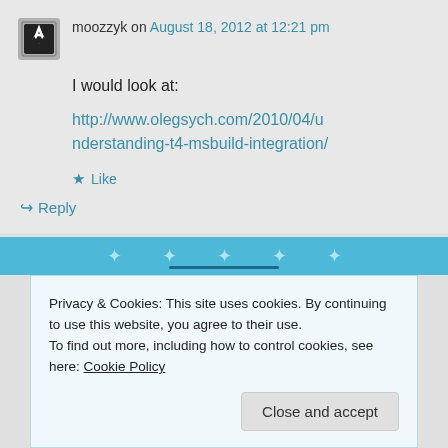moozzyk on August 18, 2012 at 12:21 pm
I would look at:
http://www.olegsych.com/2010/04/understanding-t4-msbuild-integration/
★ Like
↪ Reply
Privacy & Cookies: This site uses cookies. By continuing to use this website, you agree to their use.
To find out more, including how to control cookies, see here: Cookie Policy
Close and accept